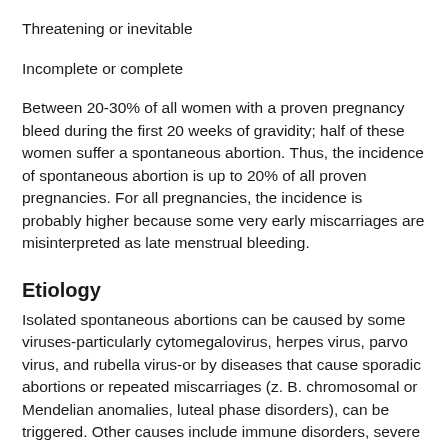Threatening or inevitable
Incomplete or complete
Between 20-30% of all women with a proven pregnancy bleed during the first 20 weeks of gravidity; half of these women suffer a spontaneous abortion. Thus, the incidence of spontaneous abortion is up to 20% of all proven pregnancies. For all pregnancies, the incidence is probably higher because some very early miscarriages are misinterpreted as late menstrual bleeding.
Etiology
Isolated spontaneous abortions can be caused by some viruses-particularly cytomegalovirus, herpes virus, parvo virus, and rubella virus-or by diseases that cause sporadic abortions or repeated miscarriages (z. B. chromosomal or Mendelian anomalies, luteal phase disorders), can be triggered. Other causes include immune disorders, severe trauma, and uterine abnormalities (z. B. fibroids, adhesions).